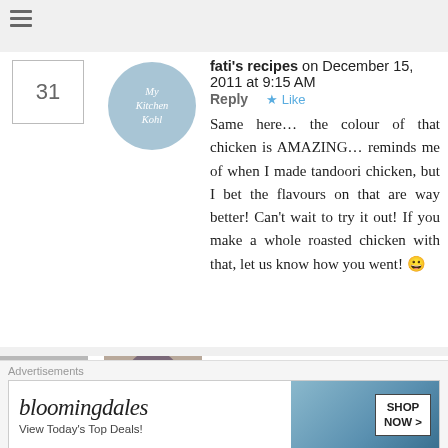[Figure (other): Hamburger menu icon (three horizontal lines)]
fati's recipes on December 15, 2011 at 9:15 AM Reply ★ Like
Same here… the colour of that chicken is AMAZING… reminds me of when I made tandoori chicken, but I bet the flavours on that are way better! Can't wait to try it out! If you make a whole roasted chicken with that, let us know how you went! 😀
Sawsan@ Chef in disguise on December 15, 2011 at 10:13 AM
Advertisements
[Figure (other): Bloomingdale's advertisement banner: 'bloomingdales View Today's Top Deals!' with SHOP NOW > button and woman with hat image]